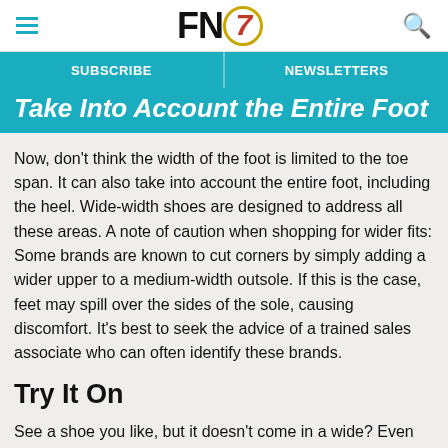FN7 [logo with hamburger menu and search icon]
SUBSCRIBE | NEWSLETTERS
Take Into Account the Entire Foot
Now, don’t think the width of the foot is limited to the toe span. It can also take into account the entire foot, including the heel. Wide-width shoes are designed to address all these areas. A note of caution when shopping for wider fits: Some brands are known to cut corners by simply adding a wider upper to a medium-width outsole. If this is the case, feet may spill over the sides of the sole, causing discomfort. It’s best to seek the advice of a trained sales associate who can often identify these brands.
Try It On
See a shoe you like, but it doesn’t come in a wide? Even